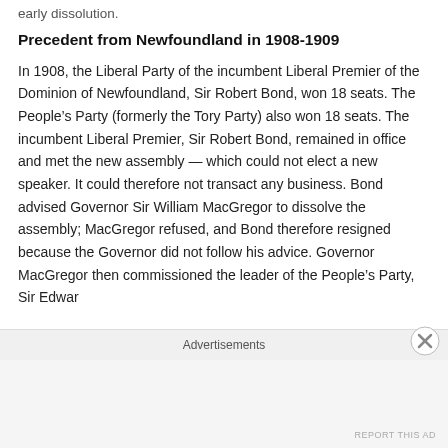early dissolution.
Precedent from Newfoundland in 1908-1909
In 1908, the Liberal Party of the incumbent Liberal Premier of the Dominion of Newfoundland, Sir Robert Bond, won 18 seats. The People's Party (formerly the Tory Party) also won 18 seats. The incumbent Liberal Premier, Sir Robert Bond, remained in office and met the new assembly — which could not elect a new speaker. It could therefore not transact any business. Bond advised Governor Sir William MacGregor to dissolve the assembly; MacGregor refused, and Bond therefore resigned because the Governor did not follow his advice. Governor MacGregor then commissioned the leader of the People's Party, Sir Edwar
Advertisements